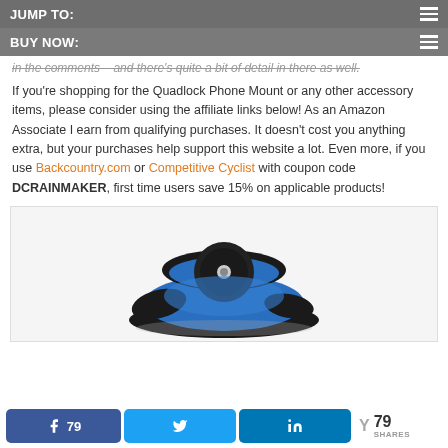JUMP TO:
BUY NOW:
in the comments – and there's quite a bit of detail in there as well.
If you're shopping for the Quadlock Phone Mount or any other accessory items, please consider using the affiliate links below! As an Amazon Associate I earn from qualifying purchases. It doesn't cost you anything extra, but your purchases help support this website a lot. Even more, if you use Backcountry.com or Competitive Cyclist with coupon code DCRAINMAKER, first time users save 15% on applicable products!
[Figure (photo): Quadlock phone mount product photo showing blue and black mounting mechanism against white/light grey background]
79 shares — Facebook 79, Twitter share, LinkedIn share